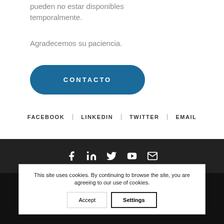pueden no estar disponibles temporalmente.
Agradecemos su paciencia.
CONTACTO
FACEBOOK | LINKEDIN | TWITTER | EMAIL
[Figure (infographic): Dark bar with social media icons: Facebook, LinkedIn, Twitter, YouTube, Email]
Copyright © 2022 Polythatt Systems S.A. de C.V. | Privacy Policy | Todos los derechos reservados.
Representantes exclusivos en México.
This site uses cookies. By continuing to browse the site, you are agreeing to our use of cookies.